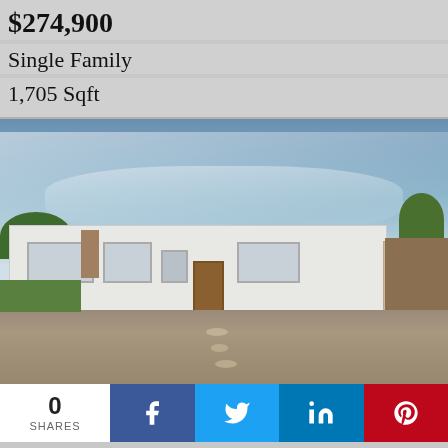$274,900
Single Family
1,705 Sqft
[Figure (photo): Exterior photo of a single-family ranch-style home with white brick exterior, brown front door, carport on the right, gravel front yard with stepping stones, and a dramatic cloudy sky backdrop.]
0 SHARES
Facebook share button
Twitter share button
LinkedIn share button
Pinterest share button